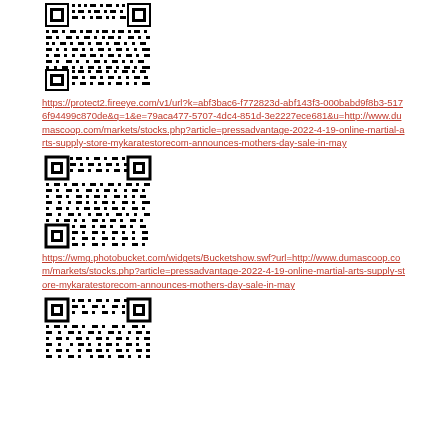[Figure (other): QR code image 1]
https://protect2.fireeye.com/v1/url?k=abf3bac6-f772823d-abf143f3-000babd9f8b3-5176f94499c870de&q=1&e=79aca477-5707-4dc4-851d-3e2227ece681&u=http://www.dumascoop.com/markets/stocks.php?article=pressadvantage-2022-4-19-online-martial-arts-supply-store-mykaratestorecom-announces-mothers-day-sale-in-may
[Figure (other): QR code image 2]
https://wmg.photobucket.com/widgets/Bucketshow.swf?url=http://www.dumascoop.com/markets/stocks.php?article=pressadvantage-2022-4-19-online-martial-arts-supply-store-mykaratestorecom-announces-mothers-day-sale-in-may
[Figure (other): QR code image 3]